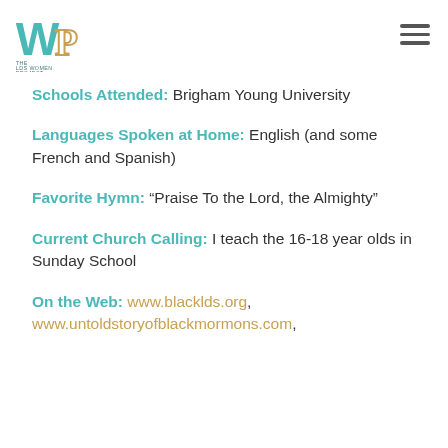The LDS Women Project logo and hamburger menu
Schools Attended: Brigham Young University
Languages Spoken at Home: English (and some French and Spanish)
Favorite Hymn: “Praise To the Lord, the Almighty”
Current Church Calling: I teach the 16-18 year olds in Sunday School
On the Web: www.blacklds.org, www.untoldstoryofblackmormons.com,